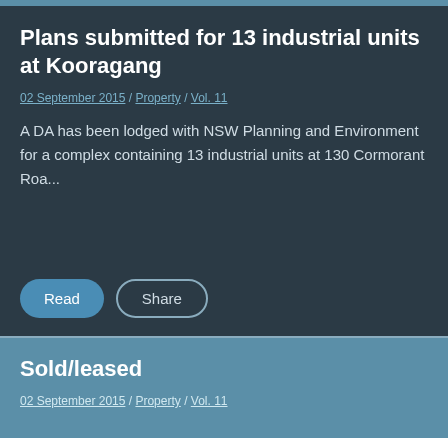Plans submitted for 13 industrial units at Kooragang
02 September 2015 / Property / Vol. 11
A DA has been lodged with NSW Planning and Environment for a complex containing 13 industrial units at 130 Cormorant Roa...
Sold/leased
02 September 2015 / Property / Vol. 11